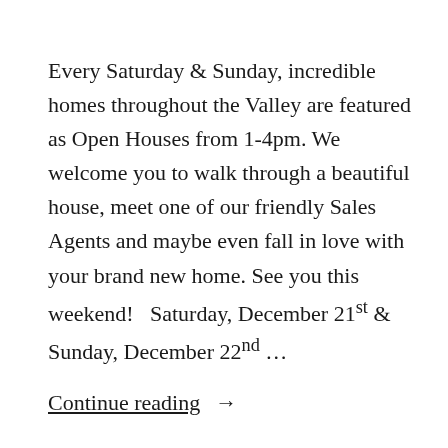Every Saturday & Sunday, incredible homes throughout the Valley are featured as Open Houses from 1-4pm. We welcome you to walk through a beautiful house, meet one of our friendly Sales Agents and maybe even fall in love with your brand new home. See you this weekend!   Saturday, December 21st & Sunday, December 22nd …
Continue reading  →